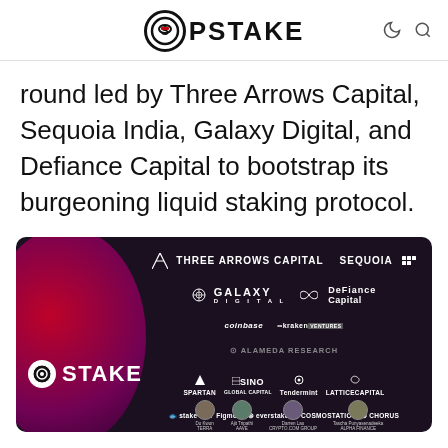SPSTAKE
round led by Three Arrows Capital, Sequoia India, Galaxy Digital, and Defiance Capital to bootstrap its burgeoning liquid staking protocol.
[Figure (infographic): Dark-background investor logo panel for pSTAKE showing logos of Three Arrows Capital, Sequoia, Galaxy Digital, DeFiance Capital, Coinbase, Kraken Ventures, Alameda Research, Spartan, Sino, Tendermint, Lattice Capital, stake.fish, Figment, Everstake, Cosmostation, Chorus, and several individual investor portraits at the bottom. The pSTAKE logo appears on the left side over a red/purple gradient circle.]